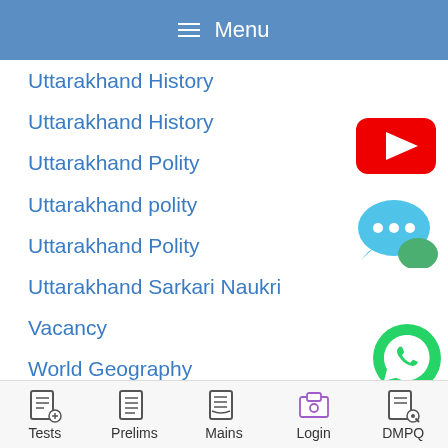≡ Menu
Uttarakhand History
Uttarakhand History
Uttarakhand Polity
Uttarakhand polity
Uttarakhand Polity
Uttarakhand Sarkari Naukri
Vacancy
World Geography
World Geography
World History
World Trade
[Figure (logo): YouTube logo — red rectangle with white play triangle]
[Figure (logo): Chat bubble icon — blue bubble with three dots and green secondary bubble]
[Figure (logo): WhatsApp logo — green circle with white phone handset]
Tests  Prelims  Mains  Login  DMPQ